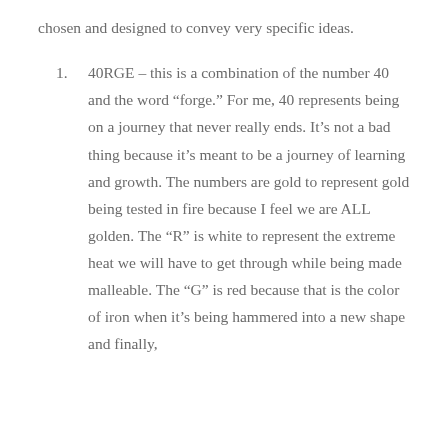chosen and designed to convey very specific ideas.
40RGE – this is a combination of the number 40 and the word “forge.” For me, 40 represents being on a journey that never really ends. It’s not a bad thing because it’s meant to be a journey of learning and growth. The numbers are gold to represent gold being tested in fire because I feel we are ALL golden. The “R” is white to represent the extreme heat we will have to get through while being made malleable. The “G” is red because that is the color of iron when it’s being hammered into a new shape and finally,